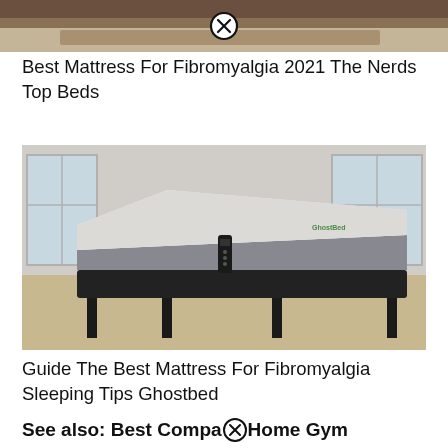[Figure (photo): Partial image of a mattress/bed in a room setting, cropped at the top of the page, with a close/X button overlay]
Best Mattress For Fibromyalgia 2021 The Nerds Top Beds
[Figure (photo): Adjustable bed base with a white and grey GhostBed mattress in an elevated head position in a bright room with windows; a remote control is visible on the mattress]
Guide The Best Mattress For Fibromyalgia Sleeping Tips Ghostbed
See also: Best Compa Home Gym